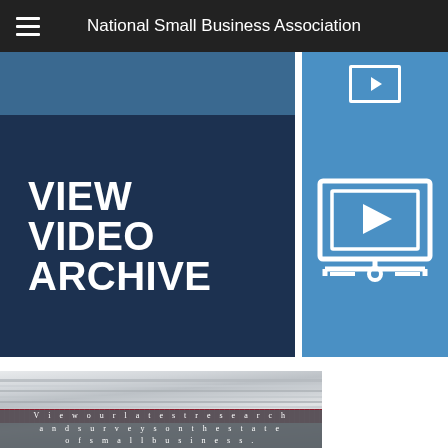National Small Business Association
[Figure (screenshot): Blue banner strip at top with partial content visible]
[Figure (infographic): View Video Archive banner with dark navy background on left and blue video player icon on right]
[Figure (photo): Stack of papers/documents photo]
View our latest research and surveys on the state of small business.